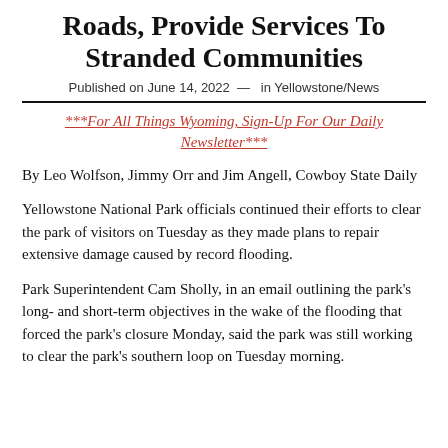Roads, Provide Services To Stranded Communities
Published on June 14, 2022  —  in Yellowstone/News
***For All Things Wyoming, Sign-Up For Our Daily Newsletter***
By Leo Wolfson, Jimmy Orr and Jim Angell, Cowboy State Daily
Yellowstone National Park officials continued their efforts to clear the park of visitors on Tuesday as they made plans to repair extensive damage caused by record flooding.
Park Superintendent Cam Sholly, in an email outlining the park's long- and short-term objectives in the wake of the flooding that forced the park's closure Monday, said the park was still working to clear the park's southern loop on Tuesday morning.